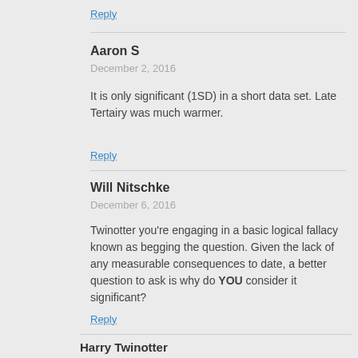Reply
Aaron S
December 2, 2016
It is only significant (1SD) in a short data set. Late Tertairy was much warmer.
Reply
Will Nitschke
December 6, 2016
Twinotter you're engaging in a basic logical fallacy known as begging the question. Given the lack of any measurable consequences to date, a better question to ask is why do YOU consider it significant?
Reply
Harry Twinotter
December 1, 2016